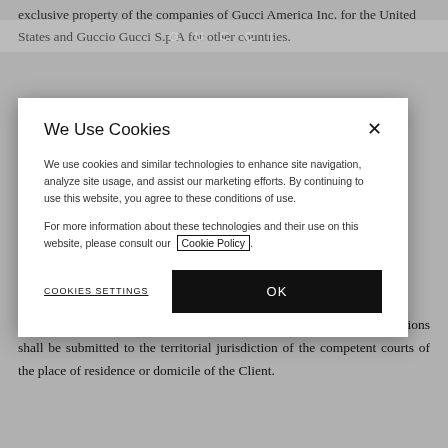exclusive property of the companies of Gucci America Inc. for the United States and Guccio Gucci S.p.A for other countries.
We Use Cookies
We use cookies and similar technologies to enhance site navigation, analyze site usage, and assist our marketing efforts. By continuing to use this website, you agree to these conditions of use.
For more information about these technologies and their use on this website, please consult our Cookie Policy.
COOKIES SETTINGS
OK
Legislative Decree of 9 April 2003, No. 70 – Ecommerce Decree").
15.2. The disputes arising out of, or relating to these General Conditions shall be submitted to the territorial jurisdiction of the competent courts of the place of residence or domicile of the Client.